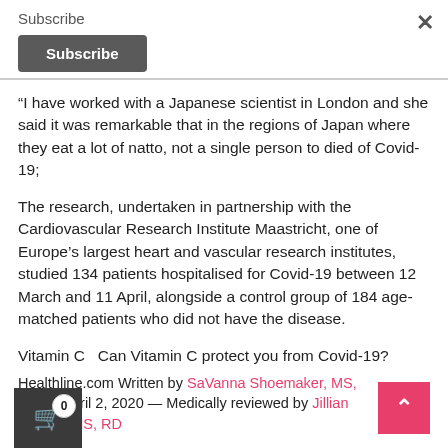Subscribe
Subscribe
“I have worked with a Japanese scientist in London and she said it was remarkable that in the regions of Japan where they eat a lot of natto, not a single person to died of Covid-19;
The research, undertaken in partnership with the Cardiovascular Research Institute Maastricht, one of Europe’s largest heart and vascular research institutes, studied 134 patients hospitalised for Covid-19 between 12 March and 11 April, alongside a control group of 184 age-matched patients who did not have the disease.
Vitamin C   Can Vitamin C protect you from Covid-19?
Healthline.com Written by SaVanna Shoemaker, MS, RD on April 2, 2020 — Medically reviewed by Jillian Kubala, MS, RD